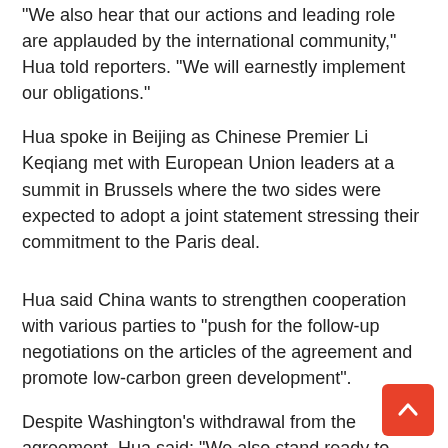“We also hear that our actions and leading role are applauded by the international community,” Hua told reporters. “We will earnestly implement our obligations.”
Hua spoke in Beijing as Chinese Premier Li Keqiang met with European Union leaders at a summit in Brussels where the two sides were expected to adopt a joint statement stressing their commitment to the Paris deal.
Hua said China wants to strengthen cooperation with various parties to “push for the follow-up negotiations on the articles of the agreement and promote low-carbon green development”.
Despite Washington’s withdrawal from the agreement, Hua said: “We also stand ready to cooperate with the international community members including the US to push forward green, low-carbon development globally.”
President Donald Trump caused international consternation on Thursday when he announced the United States was ditching the agreement, arguing that it was too lenient on China, India and Europe.